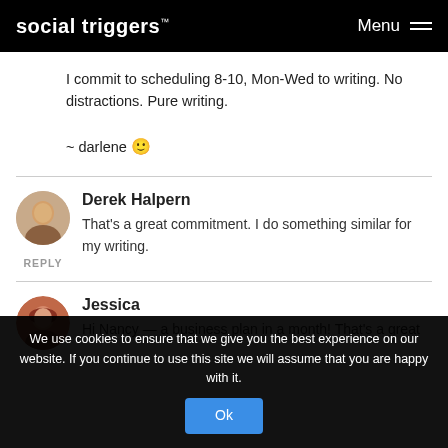social triggers™  Menu
I commit to scheduling 8-10, Mon-Wed to writing. No distractions. Pure writing.

~ darlene 🙂
Derek Halpern
That's a great commitment. I do something similar for my writing.
REPLY
Jessica
Hi Nancy — a business plan in a month! That's a great
We use cookies to ensure that we give you the best experience on our website. If you continue to use this site we will assume that you are happy with it.
Ok